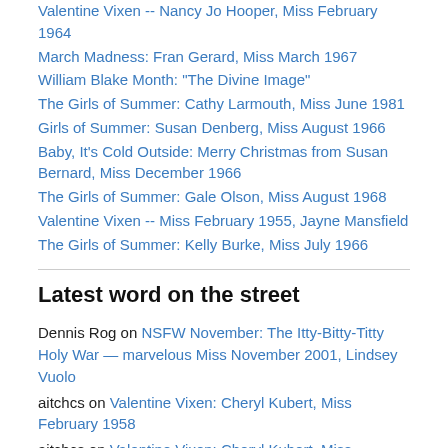Valentine Vixen -- Nancy Jo Hooper, Miss February 1964
March Madness: Fran Gerard, Miss March 1967
William Blake Month: "The Divine Image"
The Girls of Summer: Cathy Larmouth, Miss June 1981
Girls of Summer: Susan Denberg, Miss August 1966
Baby, It's Cold Outside: Merry Christmas from Susan Bernard, Miss December 1966
The Girls of Summer: Gale Olson, Miss August 1968
Valentine Vixen -- Miss February 1955, Jayne Mansfield
The Girls of Summer: Kelly Burke, Miss July 1966
Latest word on the street
Dennis Rog on NSFW November: The Itty-Bitty-Titty Holy War — marvelous Miss November 2001, Lindsey Vuolo
aitchcs on Valentine Vixen: Cheryl Kubert, Miss February 1958
aitchcs on Valentine Vixen: Cheryl Kubert, Miss February 1958
sage on NSFW November: Paige Young, Miss November 1968
Larry on Take Two Tuesday and Gotta keep 'em separated — Liberated